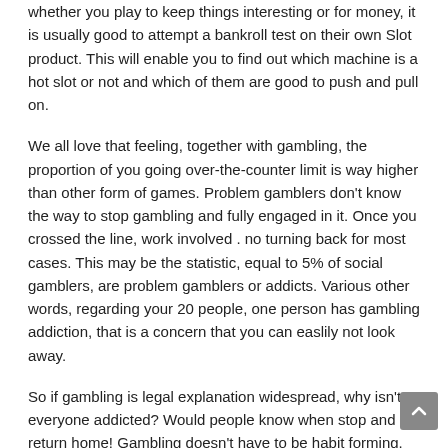whether you play to keep things interesting or for money, it is usually good to attempt a bankroll test on their own Slot product. This will enable you to find out which machine is a hot slot or not and which of them are good to push and pull on.
We all love that feeling, together with gambling, the proportion of you going over-the-counter limit is way higher than other form of games. Problem gamblers don't know the way to stop gambling and fully engaged in it. Once you crossed the line, work involved . no turning back for most cases. This may be the statistic, equal to 5% of social gamblers, are problem gamblers or addicts. Various other words, regarding your 20 people, one person has gambling addiction, that is a concern that you can easlily not look away.
So if gambling is legal explanation widespread, why isn't everyone addicted? Would people know when stop and return home! Gambling doesn't have to be habit forming. You need strong self-control and an instinct to learn when avoid. You need